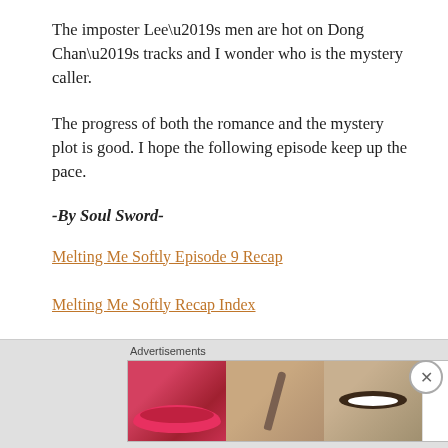The imposter Lee’s men are hot on Dong Chan’s tracks and I wonder who is the mystery caller.
The progress of both the romance and the mystery plot is good. I hope the following episode keep up the pace.
-By Soul Sword-
Melting Me Softly Episode 9 Recap
Melting Me Softly Recap Index
Korean Drama Recap Index
Advertisements
[Figure (other): Advertisement banner showing beauty/makeup products with ULTA branding and SHOP NOW call to action]